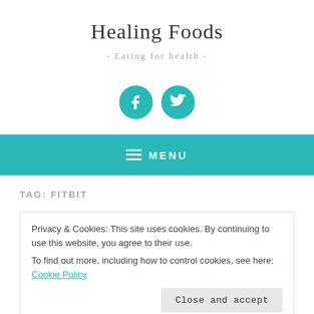Healing Foods
- Eating for health -
[Figure (illustration): Two teal circular social media icons: Facebook and Twitter]
≡ MENU
TAG: FITBIT
Privacy & Cookies: This site uses cookies. By continuing to use this website, you agree to their use.
To find out more, including how to control cookies, see here: Cookie Policy
[Close and accept button]
Today the headlines are about reducing calories in